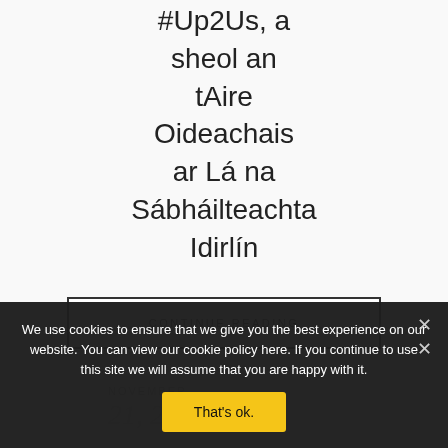#Up2Us, a sheol an tAire Oideachais ar Lá na Sábháilteachta Idirlín
CONTINUE READING
NOVEMBER
21, 2014
We use cookies to ensure that we give you the best experience on our website. You can view our cookie policy here. If you continue to use this site we will assume that you are happy with it.
That's ok.